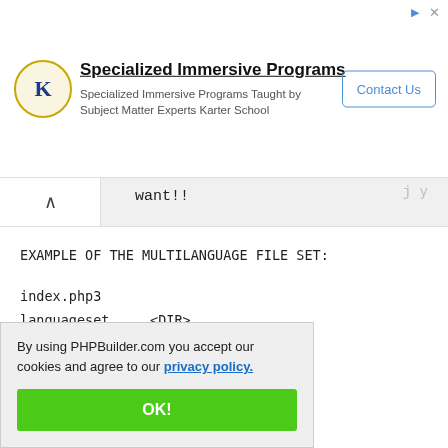[Figure (screenshot): Advertisement banner for Karter School Specialized Immersive Programs with logo, text, and Contact Us button]
want!!
EXAMPLE OF THE MULTILANGUAGE FILE SET:

index.php3
languageset     <DIR>
        en      <DIR>
                language.php
        it      <DIR>
By using PHPBuilder.com you accept our cookies and agree to our privacy policy.
OK!